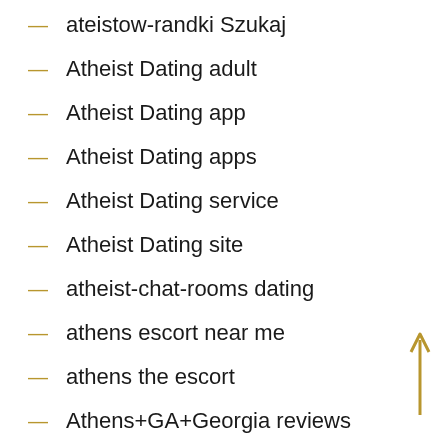ateistow-randki Szukaj
Atheist Dating adult
Atheist Dating app
Atheist Dating apps
Atheist Dating service
Atheist Dating site
atheist-chat-rooms dating
athens escort near me
athens the escort
Athens+GA+Georgia reviews
atlanta eros escort
atlanta escort